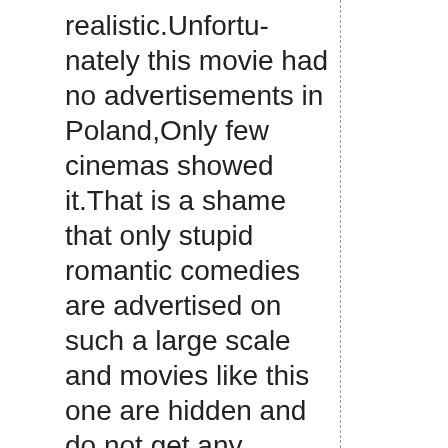realistic.Unfortunately this movie had no advertisements in Poland,Only few cinemas showed it.That is a shame that only stupid romantic comedies are advertised on such a large scale and movies like this one are hidden and do not get any attention. Unfortunately things like this happens and we should be aware of it.Maybe if more girls would watch it they would realize how careful they have to be when it comes